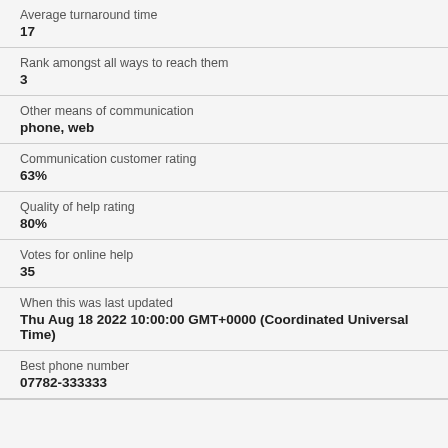Average turnaround time
17
Rank amongst all ways to reach them
3
Other means of communication
phone, web
Communication customer rating
63%
Quality of help rating
80%
Votes for online help
35
When this was last updated
Thu Aug 18 2022 10:00:00 GMT+0000 (Coordinated Universal Time)
Best phone number
07782-333333